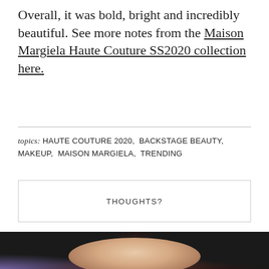Overall, it was bold, bright and incredibly beautiful. See more notes from the Maison Margiela Haute Couture SS2020 collection here.
topics: HAUTE COUTURE 2020, BACKSTAGE BEAUTY, MAKEUP, MAISON MARGIELA, TRENDING
THOUGHTS?
[Figure (photo): Close-up portrait of a model with dark slicked-back hair, subtle rosy eye makeup, and a small jeweled ear cuff, against a dark background with purple tones.]